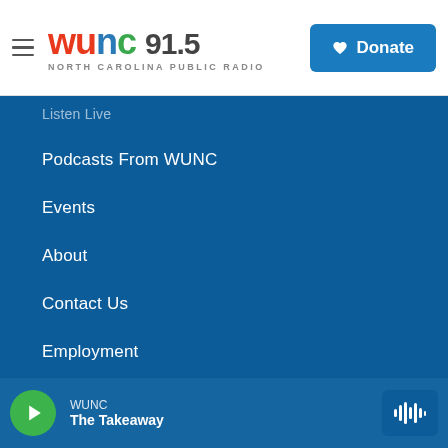WUNC 91.5 North Carolina Public Radio — Donate
Listen Live
Podcasts From WUNC
Events
About
Contact Us
Employment
Privacy
FCC Applications
WUNC FCC Public File
WUNC — The Takeaway